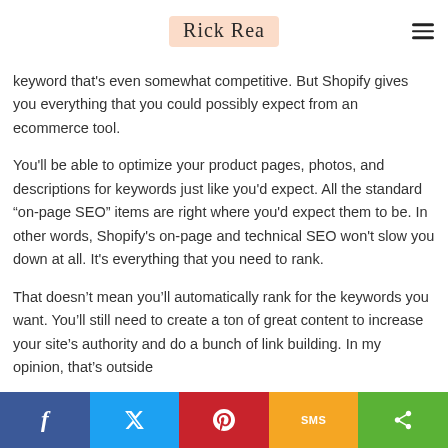Rick Rea
keyword that's even somewhat competitive. But Shopify gives you everything that you could possibly expect from an ecommerce tool.
You'll be able to optimize your product pages, photos, and descriptions for keywords just like you'd expect. All the standard “on-page SEO” items are right where you'd expect them to be. In other words, Shopify's on-page and technical SEO won't slow you down at all. It's everything that you need to rank.
That doesn’t mean you’ll automatically rank for the keywords you want. You’ll still need to create a ton of great content to increase your site’s authority and do a bunch of link building. In my opinion, that’s outside